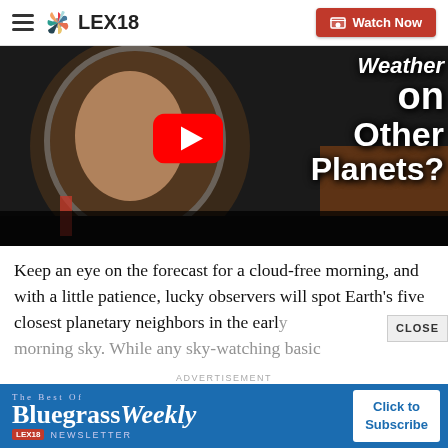LEX18 — Watch Now
[Figure (screenshot): Video thumbnail showing astronaut in space helmet with YouTube play button overlay. Text reads: Weather on Other Planets?]
Keep an eye on the forecast for a cloud-free morning, and with a little patience, lucky observers will spot Earth's five closest planetary neighbors in the early morning sky. While any sky-watching basic to lo...
[Figure (infographic): Advertisement banner: The Best Of BluegrassWeekly Newsletter — LEX18. Click to Subscribe.]